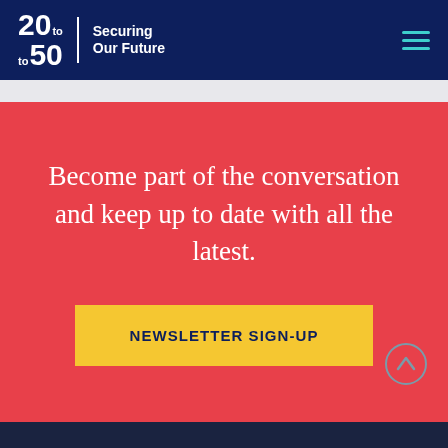20 to 50 | Securing Our Future
Become part of the conversation and keep up to date with all the latest.
NEWSLETTER SIGN-UP